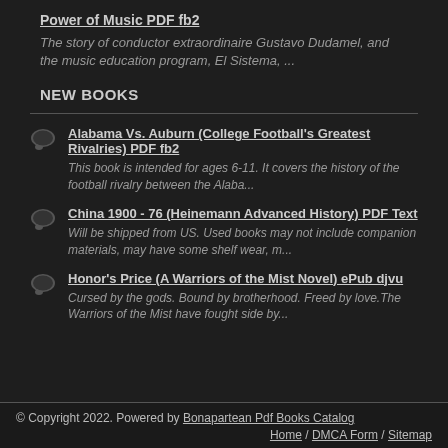Power of Music PDF fb2
The story of conductor extraordinaire Gustavo Dudamel, and the music education program, El Sistema, ...
NEW BOOKS
Alabama Vs. Auburn (College Football's Greatest Rivalries) PDF fb2
This book is intended for ages 6-11. It covers the history of the football rivalry between the Alaba...
China 1900 - 76 (Heinemann Advanced History) PDF Text
Will be shipped from US. Used books may not include companion materials, may have some shelf wear, m...
Honor's Price (A Warriors of the Mist Novel) ePub djvu
Cursed by the gods. Bound by brotherhood. Freed by love.The Warriors of the Mist have fought side by...
© Copyright 2022. Powered by Bonapartean Pdf Books Catalog  Home / DMCA Form / Sitemap